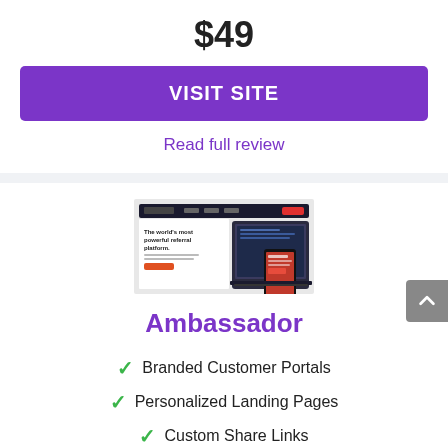$49
VISIT SITE
Read full review
[Figure (screenshot): Screenshot of Ambassador referral platform website showing 'The world's most powerful referral platform' headline with laptop and mobile device mockups]
Ambassador
Branded Customer Portals
Personalized Landing Pages
Custom Share Links
$500